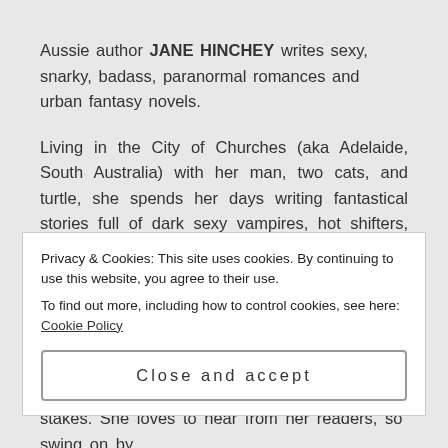Aussie author JANE HINCHEY writes sexy, snarky, badass, paranormal romances and urban fantasy novels.
Living in the City of Churches (aka Adelaide, South Australia) with her man, two cats, and turtle, she spends her days writing fantastical stories full of dark sexy vampires, hot shifters, sexy aliens, jaw dropping demons, sinful angels, and magical witches – and while they can be snarky and swear a lot, they mean well and you'll grow to love them. Honestly.
Privacy & Cookies: This site uses cookies. By continuing to use this website, you agree to their use.
To find out more, including how to control cookies, see here: Cookie Policy
Close and accept
stakes. She loves to hear from her readers, so swing on by